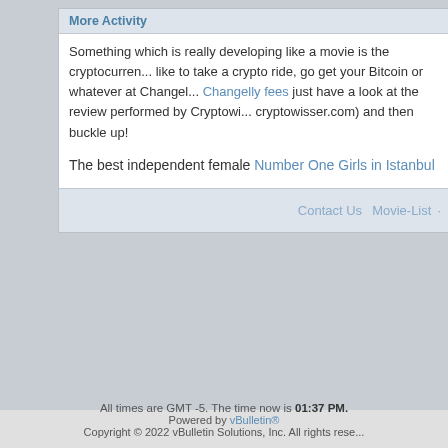More Activity
Something which is really developing like a movie is the cryptocurren... like to take a crypto ride, go get your Bitcoin or whatever at Changel... Changelly fees just have a look at the review performed by Cryptowi... cryptowisser.com) and then buckle up!
The best independent female Number One Girls in Istanbul
Contact Us  Movie-List
All times are GMT -5. The time now is 01:37 PM.
Powered by vBulletin® Copyright © 2022 vBulletin Solutions, Inc. All rights rese...
Credits System provided by vBCredits II Deluxe (Lite) - vBulletin Mods & Addons... Technologies Ltd.
[Figure (logo): Movie-List.com logo with film reel icon]
Watch Movies Trailers, Previews, Teasers and TV Spots for new and classic films. High Definition flash and quicktime trailers from 1931 to 2014. Online since 1997.